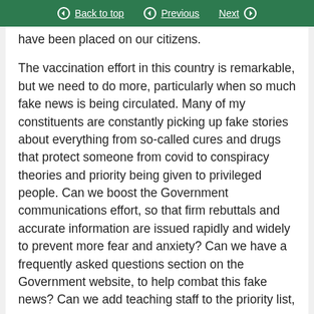Back to top | Previous | Next
have been placed on our citizens.

The vaccination effort in this country is remarkable, but we need to do more, particularly when so much fake news is being circulated. Many of my constituents are constantly picking up fake stories about everything from so-called cures and drugs that protect someone from covid to conspiracy theories and priority being given to privileged people. Can we boost the Government communications effort, so that firm rebuttals and accurate information are issued rapidly and widely to prevent more fear and anxiety? Can we have a frequently asked questions section on the Government website, to help combat this fake news? Can we add teaching staff to the priority list,